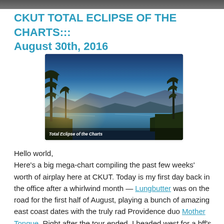CKUT TOTAL ECLIPSE OF THE CHARTS::: August 30th, 2016
[Figure (photo): Panoramic landscape photo of a lake with trees and mountains in the background, labeled 'Total Eclipse of the Charts']
Hello world,
Here's a big mega-chart compiling the past few weeks' worth of airplay here at CKUT. Today is my first day back in the office after a whirlwind month — Lungbutter was on the road for the first half of August, playing a bunch of amazing east coast dates with the truly rad Providence duo Mother Tongue. Right after the tour ended, I headed west for a bff's wedding celebration in Alberta and stuck around to catch up with friends & family in BC afterwards. It was a wild few